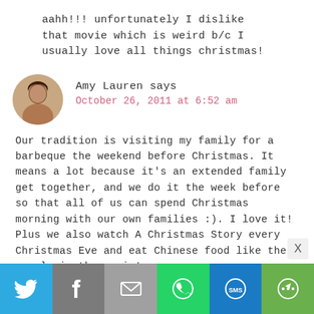aahh!!! unfortunately I dislike that movie which is weird b/c I usually love all things christmas!
[Figure (photo): Round avatar photo of Amy Lauren, a woman with dark hair]
Amy Lauren says
October 26, 2011 at 6:52 am
Our tradition is visiting my family for a barbeque the weekend before Christmas. It means a lot because it's an extended family get together, and we do it the week before so that all of us can spend Christmas morning with our own families :). I love it! Plus we also watch A Christmas Story every Christmas Eve and eat Chinese food like the people in the movie!
Amy Lauren
[Figure (infographic): Social sharing bar with Twitter, Facebook, Email, WhatsApp, SMS, and More buttons]